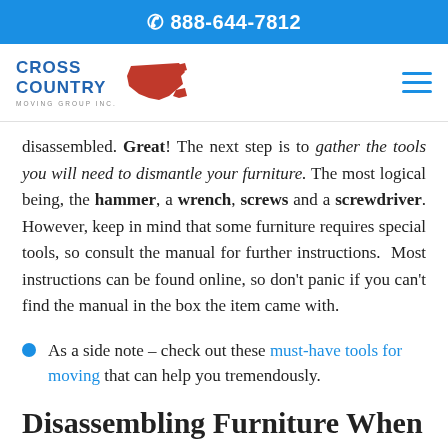📞 888-644-7812
[Figure (logo): Cross Country Moving Group Inc logo with US map graphic and blue text]
disassembled. Great! The next step is to gather the tools you will need to dismantle your furniture. The most logical being, the hammer, a wrench, screws and a screwdriver. However, keep in mind that some furniture requires special tools, so consult the manual for further instructions. Most instructions can be found online, so don't panic if you can't find the manual in the box the item came with.
As a side note – check out these must-have tools for moving that can help you tremendously.
Disassembling Furniture When